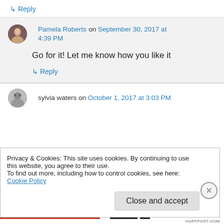↳ Reply
Pamela Roberts on September 30, 2017 at 4:39 PM
Go for it! Let me know how you like it
↳ Reply
sylvia waters on October 1, 2017 at 3:03 PM
Privacy & Cookies: This site uses cookies. By continuing to use this website, you agree to their use.
To find out more, including how to control cookies, see here: Cookie Policy
Close and accept